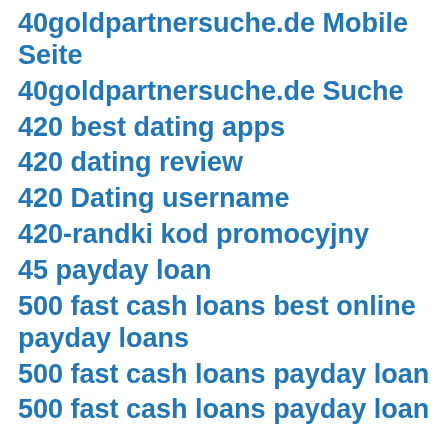40goldpartnersuche.de Mobile Seite
40goldpartnersuche.de Suche
420 best dating apps
420 dating review
420 Dating username
420-randki kod promocyjny
45 payday loan
500 fast cash loans best online payday loans
500 fast cash loans payday loan
500 fast cash loans payday loan